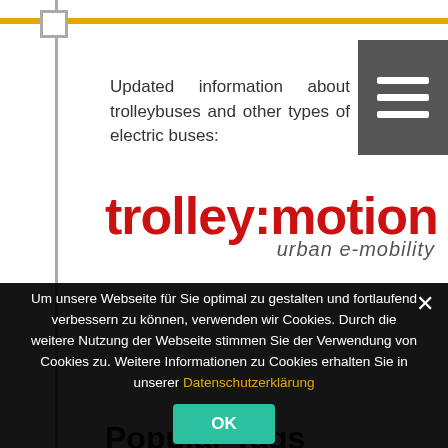Updated information about trolleybuses and other types of electric buses:
[Figure (logo): trolley:motion urban e-mobility logo in red and gray]
Popular Tags
Bus
E-Bus
Infrastructure
Light Rail
Um unsere Webseite für Sie optimal zu gestalten und fortlaufend verbessern zu können, verwenden wir Cookies. Durch die weitere Nutzung der Webseite stimmen Sie der Verwendung von Cookies zu. Weitere Informationen zu Cookies erhalten Sie in unserer Datenschutzerklärung